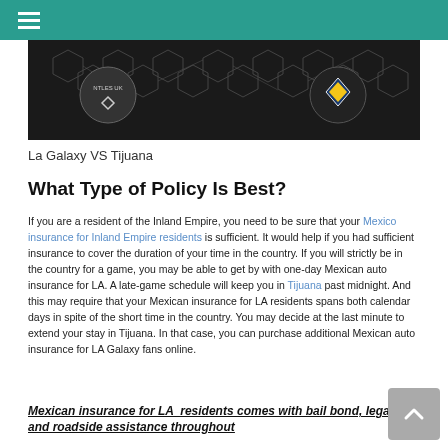[Figure (photo): Dark background with hexagonal pattern and soccer/football logos, depicting La Galaxy VS Tijuana match graphic]
La Galaxy VS Tijuana
What Type of Policy Is Best?
If you are a resident of the Inland Empire, you need to be sure that your Mexico insurance for Inland Empire residents is sufficient. It would help if you had sufficient insurance to cover the duration of your time in the country. If you will strictly be in the country for a game, you may be able to get by with one-day Mexican auto insurance for LA. A late-game schedule will keep you in Tijuana past midnight. And this may require that your Mexican insurance for LA residents spans both calendar days in spite of the short time in the country. You may decide at the last minute to extend your stay in Tijuana. In that case, you can purchase additional Mexican auto insurance for LA Galaxy fans online.
Mexican insurance for LA residents comes with bail bond, legal, and roadside assistance throughout